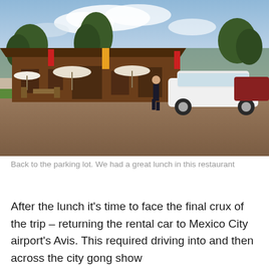[Figure (photo): Outdoor restaurant/roadside stop with a wooden chalet-style building, umbrellas and outdoor seating on the left, trees in the background, a white sedan parked on the right, and a person walking across a gravel parking lot in the foreground.]
Back to the parking lot. We had a great lunch in this restaurant
After the lunch it's time to face the final crux of the trip – returning the rental car to Mexico City airport's Avis. This required driving into and then across the city gong show